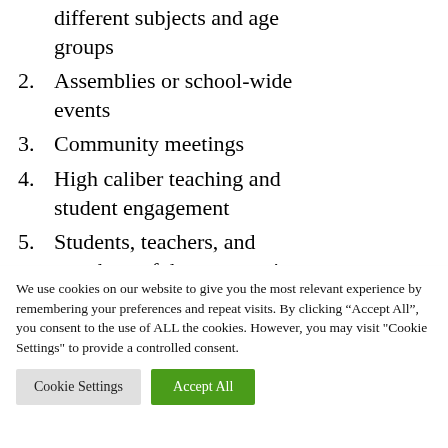different subjects and age groups
2. Assemblies or school-wide events
3. Community meetings
4. High caliber teaching and student engagement
5. Students, teachers, and members of the community discussing what makes the
We use cookies on our website to give you the most relevant experience by remembering your preferences and repeat visits. By clicking “Accept All”, you consent to the use of ALL the cookies. However, you may visit "Cookie Settings" to provide a controlled consent.